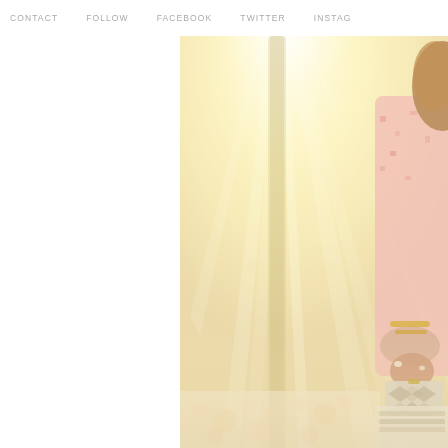CONTACT   FOLLOW   FACEBOOK   TWITTER   INSTAG
[Figure (photo): A sun-drenched outdoor photo of a woman in a pink patterned blouse holding a geometric patterned clutch bag, with bright sunlight rays in the background, festival-style setting.]